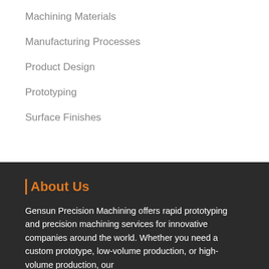Machining Materials
Manufacturing Processes
Product Design
Prototyping
Surface Finishes
About Us
Gensun Precision Machining offers rapid prototyping and precision machining services for innovative companies around the world. Whether you need a custom prototype, low-volume production, or high-volume production, our